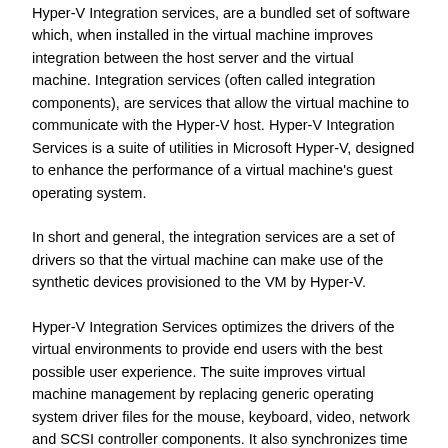Hyper-V Integration services, are a bundled set of software which, when installed in the virtual machine improves integration between the host server and the virtual machine. Integration services (often called integration components), are services that allow the virtual machine to communicate with the Hyper-V host. Hyper-V Integration Services is a suite of utilities in Microsoft Hyper-V, designed to enhance the performance of a virtual machine's guest operating system.
In short and general, the integration services are a set of drivers so that the virtual machine can make use of the synthetic devices provisioned to the VM by Hyper-V.
Hyper-V Integration Services optimizes the drivers of the virtual environments to provide end users with the best possible user experience. The suite improves virtual machine management by replacing generic operating system driver files for the mouse, keyboard, video, network and SCSI controller components. It also synchronizes time between the guests and host operating systems and can provide file…